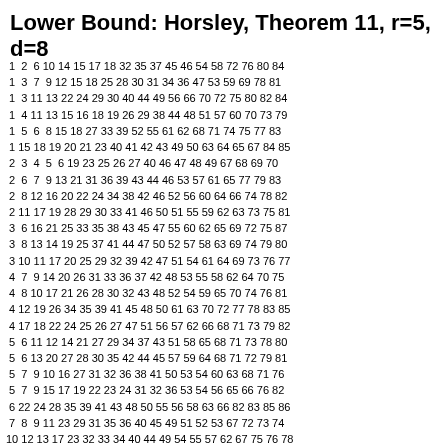Lower Bound: Horsley, Theorem 11, r=5, d=8
| 1 | 2 | 6 | 10 | 14 | 15 | 17 | 18 | 32 | 35 | 37 | 45 | 46 | 54 | 58 | 72 | 76 | 80 | 84 |
| 1 | 3 | 7 | 9 | 12 | 15 | 18 | 25 | 28 | 30 | 31 | 34 | 36 | 47 | 53 | 59 | 69 | 78 | 81 |
| 1 | 3 | 11 | 13 | 22 | 24 | 29 | 30 | 40 | 44 | 49 | 56 | 66 | 70 | 72 | 75 | 80 | 82 | 84 |
| 1 | 4 | 11 | 13 | 15 | 16 | 18 | 19 | 26 | 29 | 38 | 44 | 48 | 51 | 57 | 60 | 70 | 73 | 79 |
| 1 | 5 | 6 | 8 | 15 | 18 | 27 | 33 | 39 | 52 | 55 | 61 | 62 | 68 | 71 | 74 | 75 | 77 | 83 |
| 1 | 15 | 18 | 19 | 20 | 21 | 23 | 40 | 41 | 42 | 43 | 49 | 50 | 63 | 64 | 65 | 67 | 84 | 85 |
| 2 | 3 | 4 | 5 | 6 | 19 | 23 | 25 | 26 | 27 | 40 | 46 | 47 | 48 | 49 | 67 | 68 | 69 | 70 |
| 2 | 6 | 7 | 9 | 13 | 21 | 31 | 36 | 39 | 43 | 44 | 46 | 53 | 57 | 61 | 65 | 77 | 79 | 83 |
| 2 | 8 | 12 | 16 | 20 | 22 | 24 | 34 | 38 | 42 | 46 | 52 | 56 | 60 | 64 | 66 | 74 | 78 | 82 |
| 2 | 11 | 17 | 19 | 28 | 29 | 30 | 33 | 41 | 46 | 50 | 51 | 55 | 59 | 62 | 63 | 73 | 75 | 81 |
| 3 | 6 | 16 | 21 | 25 | 33 | 35 | 38 | 43 | 45 | 47 | 55 | 60 | 62 | 65 | 69 | 72 | 75 | 87 |
| 3 | 8 | 13 | 14 | 19 | 25 | 37 | 41 | 44 | 47 | 50 | 52 | 57 | 58 | 63 | 69 | 74 | 79 | 80 |
| 3 | 10 | 11 | 17 | 20 | 25 | 29 | 32 | 39 | 42 | 47 | 51 | 54 | 61 | 64 | 69 | 73 | 76 | 77 |
| 4 | 7 | 9 | 14 | 20 | 26 | 31 | 33 | 36 | 37 | 42 | 48 | 53 | 55 | 58 | 62 | 64 | 70 | 75 |
| 4 | 8 | 10 | 17 | 21 | 26 | 28 | 30 | 32 | 43 | 48 | 52 | 54 | 59 | 65 | 70 | 74 | 76 | 81 |
| 4 | 12 | 19 | 26 | 34 | 35 | 39 | 41 | 45 | 48 | 50 | 61 | 63 | 70 | 72 | 77 | 78 | 83 | 85 |
| 4 | 17 | 18 | 22 | 24 | 25 | 26 | 27 | 47 | 51 | 56 | 57 | 62 | 66 | 68 | 71 | 73 | 79 | 82 |
| 5 | 6 | 11 | 12 | 14 | 21 | 27 | 29 | 34 | 37 | 43 | 51 | 58 | 65 | 68 | 71 | 73 | 78 | 80 |
| 5 | 6 | 13 | 20 | 27 | 28 | 30 | 35 | 42 | 44 | 45 | 57 | 59 | 64 | 68 | 71 | 72 | 79 | 81 |
| 5 | 7 | 9 | 10 | 16 | 27 | 31 | 32 | 36 | 38 | 41 | 50 | 53 | 54 | 60 | 63 | 68 | 71 | 76 |
| 5 | 7 | 9 | 15 | 17 | 19 | 22 | 23 | 24 | 31 | 32 | 36 | 53 | 54 | 56 | 65 | 66 | 76 | 82 |
| 6 | 22 | 24 | 28 | 35 | 39 | 41 | 43 | 48 | 50 | 55 | 56 | 58 | 63 | 66 | 82 | 83 | 85 | 86 |
| 7 | 8 | 9 | 11 | 23 | 29 | 31 | 35 | 36 | 40 | 45 | 49 | 51 | 52 | 53 | 67 | 72 | 73 | 74 |
| 10 | 12 | 13 | 17 | 23 | 32 | 33 | 34 | 40 | 44 | 49 | 54 | 55 | 57 | 62 | 67 | 75 | 76 | 78 |
| 10 | 14 | 19 | 21 | 22 | 24 | 33 | 37 | 45 | 56 | 59 | 61 | 66 | 67 | 69 | 77 | 81 | 82 | 86 |
| 14 | 16 | 17 | 23 | 28 | 30 | 37 | 38 | 39 | 40 | 49 | 58 | 59 | 60 | 61 | 67 | 77 | 80 | 83 |